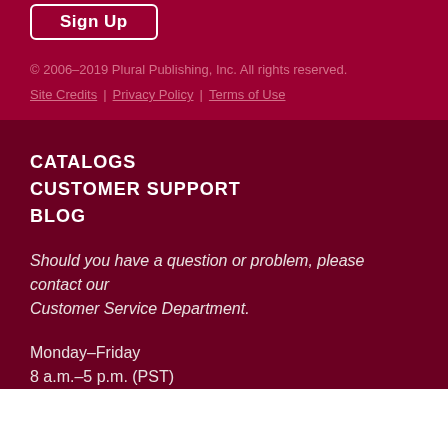Sign Up
© 2006–2019 Plural Publishing, Inc. All rights reserved.
Site Credits  |  Privacy Policy  |  Terms of Use
CATALOGS
CUSTOMER SUPPORT
BLOG
Should you have a question or problem, please contact our Customer Service Department.
Monday–Friday
8 a.m.–5 p.m. (PST)